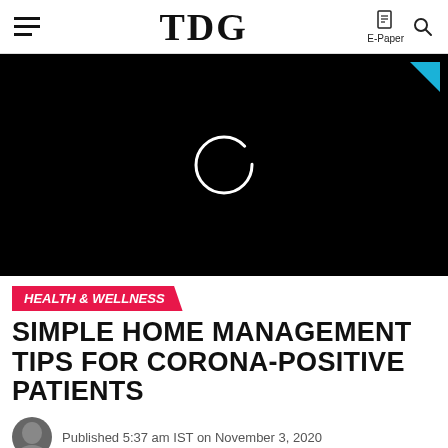TDG | E-Paper
[Figure (screenshot): Black video player area with a loading spinner ring and a blue triangle play indicator in the top right corner]
HEALTH & WELLNESS
SIMPLE HOME MANAGEMENT TIPS FOR CORONA-POSITIVE PATIENTS
Published 5:37 am IST on November 3, 2020